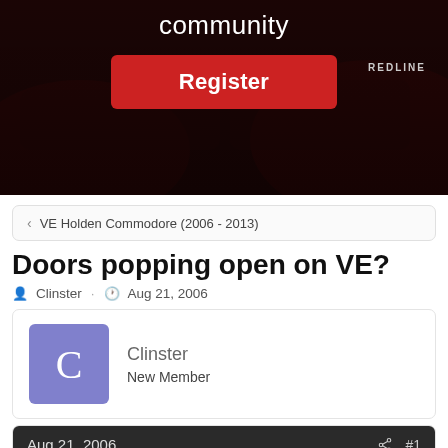[Figure (photo): Dark hero banner image showing a red Holden Commodore Redline car with text 'community' and a red Register button]
VE Holden Commodore (2006 - 2013)
Doors popping open on VE?
Clinster · Aug 21, 2006
Clinster
New Member
Aug 21, 2006  #1
So i heard a rumour today saying that if you jump on